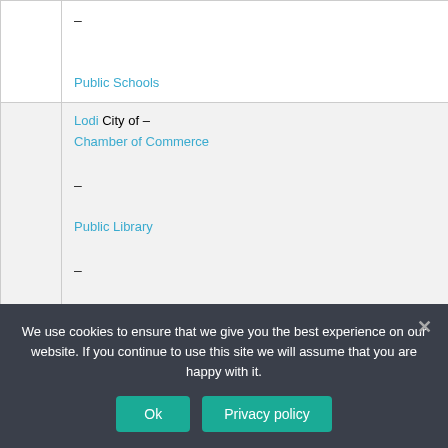|  | – 
 Public Schools |
|  | Lodi City of –
Chamber of Commerce
–
Public Library
–
Public Schools |
|  | Lodi Town of –
Chamber of Commerce |
We use cookies to ensure that we give you the best experience on our website. If you continue to use this site we will assume that you are happy with it.